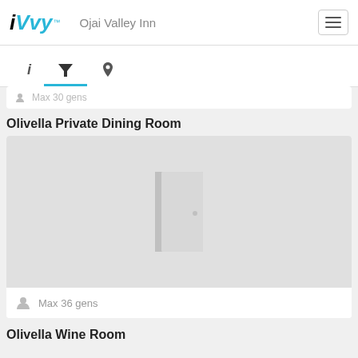iVvy - Ojai Valley Inn
Max 30 gens
Olivella Private Dining Room
[Figure (illustration): Placeholder room image showing a door icon on a light gray background]
Max 36 gens
Olivella Wine Room